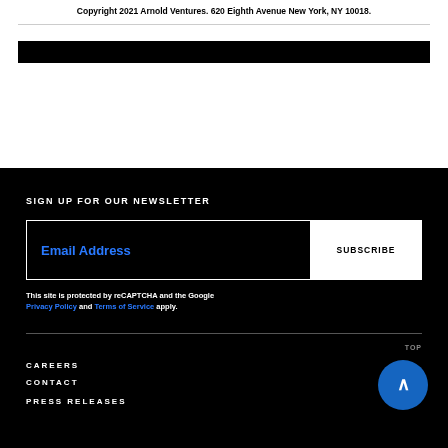Copyright 2021 Arnold Ventures. 620 Eighth Avenue New York, NY 10018.
SIGN UP FOR OUR NEWSLETTER
Email Address
SUBSCRIBE
This site is protected by reCAPTCHA and the Google Privacy Policy and Terms of Service apply.
TOP
CAREERS
CONTACT
PRESS RELEASES